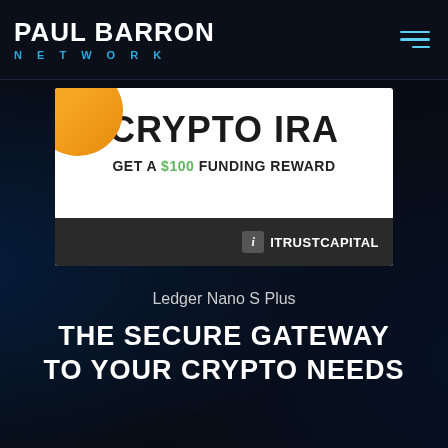[Figure (logo): Paul Barron Network logo with white bold text 'PAUL BARRON' and blue spaced text 'NETWORK' below, with hamburger menu icon on right]
[Figure (infographic): iTrustCapital advertisement banner: white background with orange circle top-left, large bold text 'CRYPTO IRA', subtext 'GET A $100 FUNDING REWARD' with $100 in green, dark bottom strip with iTrustCapital logo]
Ledger Nano S Plus
THE SECURE GATEWAY TO YOUR CRYPTO NEEDS